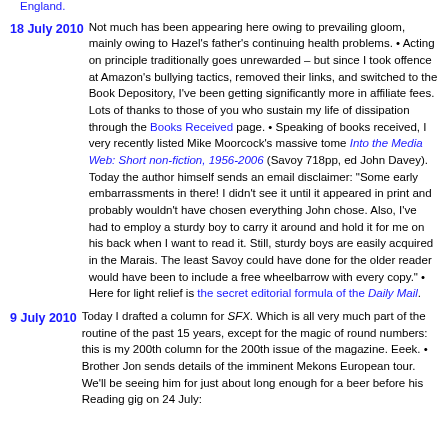England.
18 July 2010 Not much has been appearing here owing to prevailing gloom, mainly owing to Hazel's father's continuing health problems. • Acting on principle traditionally goes unrewarded – but since I took offence at Amazon's bullying tactics, removed their links, and switched to the Book Depository, I've been getting significantly more in affiliate fees. Lots of thanks to those of you who sustain my life of dissipation through the Books Received page. • Speaking of books received, I very recently listed Mike Moorcock's massive tome Into the Media Web: Short non-fiction, 1956-2006 (Savoy 718pp, ed John Davey). Today the author himself sends an email disclaimer: "Some early embarrassments in there! I didn't see it until it appeared in print and probably wouldn't have chosen everything John chose. Also, I've had to employ a sturdy boy to carry it around and hold it for me on his back when I want to read it. Still, sturdy boys are easily acquired in the Marais. The least Savoy could have done for the older reader would have been to include a free wheelbarrow with every copy." • Here for light relief is the secret editorial formula of the Daily Mail.
9 July 2010 Today I drafted a column for SFX. Which is all very much part of the routine of the past 15 years, except for the magic of round numbers: this is my 200th column for the 200th issue of the magazine. Eeek. • Brother Jon sends details of the imminent Mekons European tour. We'll be seeing him for just about long enough for a beer before his Reading gig on 24 July: